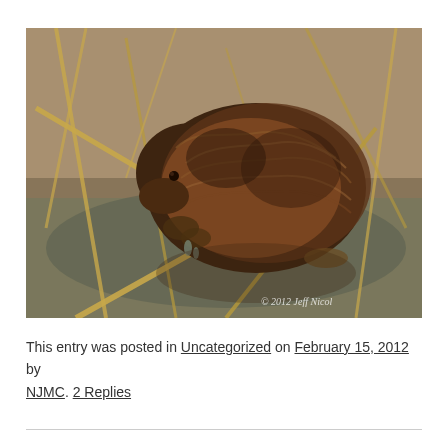[Figure (photo): A muskrat or beaver sitting at the water's edge among dry reeds and marsh grass, eating something held in its front paws. The animal has wet, dark brown fur. A watermark in the bottom right reads '© 2012 Jeff Nicol'.]
This entry was posted in Uncategorized on February 15, 2012 by NJMC. 2 Replies